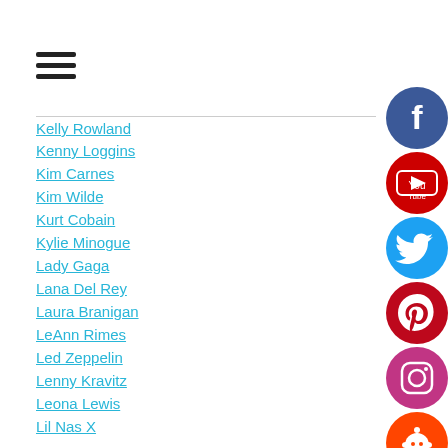[Figure (other): Hamburger menu icon (three horizontal lines)]
Kelly Rowland
Kenny Loggins
Kim Carnes
Kim Wilde
Kurt Cobain
Kylie Minogue
Lady Gaga
Lana Del Rey
Laura Branigan
LeAnn Rimes
Led Zeppelin
Lenny Kravitz
Leona Lewis
Lil Nas X
Limahl
Linkin Park
Lionel Richie
Lorde
Macy Gray
[Figure (other): Social media icons on right side: Facebook, YouTube, Twitter, Pinterest, Instagram, Reddit]